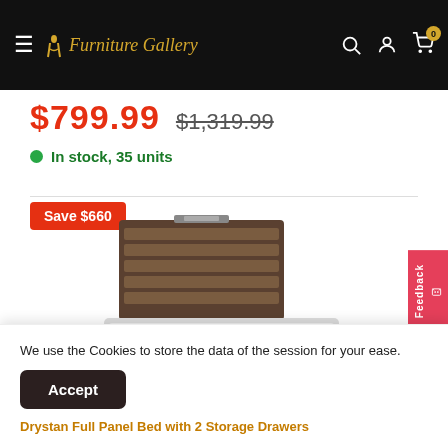Furniture Gallery — navigation bar with hamburger menu, logo, search, account, and cart icons
$799.99  $1,319.99
In stock, 35 units
Save $660
[Figure (photo): Drystan Full Panel Bed with 2 Storage Drawers — dark rustic wood headboard and footboard with white mattress and drawer storage base]
We use the Cookies to store the data of the session for your ease.
Accept
Drystan Full Panel Bed with 2 Storage Drawers